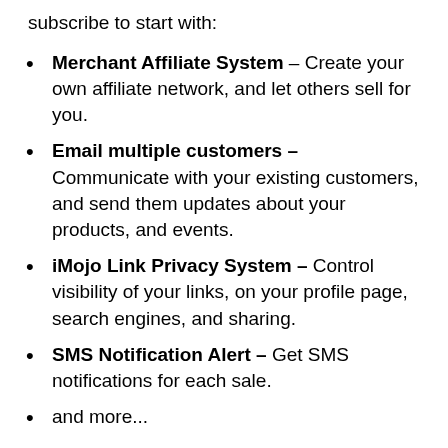subscribe to start with:
Merchant Affiliate System – Create your own affiliate network, and let others sell for you.
Email multiple customers – Communicate with your existing customers, and send them updates about your products, and events.
iMojo Link Privacy System – Control visibility of your links, on your profile page, search engines, and sharing.
SMS Notification Alert – Get SMS notifications for each sale.
and more...